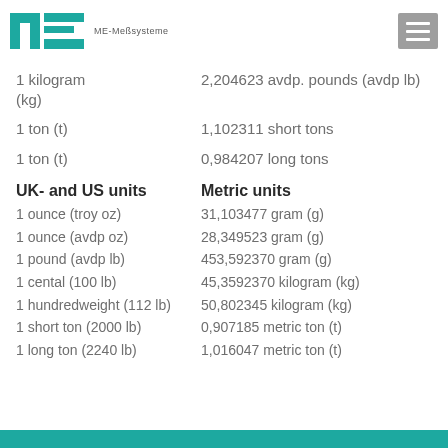ME-Meßsysteme
1 kilogram (kg) = 2,204623 avdp. pounds (avdp lb)
1 ton (t) = 1,102311 short tons
1 ton (t) = 0,984207 long tons
UK- and US units | Metric units
1 ounce (troy oz) = 31,103477 gram (g)
1 ounce (avdp oz) = 28,349523 gram (g)
1 pound (avdp lb) = 453,592370 gram (g)
1 cental (100 lb) = 45,3592370 kilogram (kg)
1 hundredweight (112 lb) = 50,802345 kilogram (kg)
1 short ton (2000 lb) = 0,907185 metric ton (t)
1 long ton (2240 lb) = 1,016047 metric ton (t)